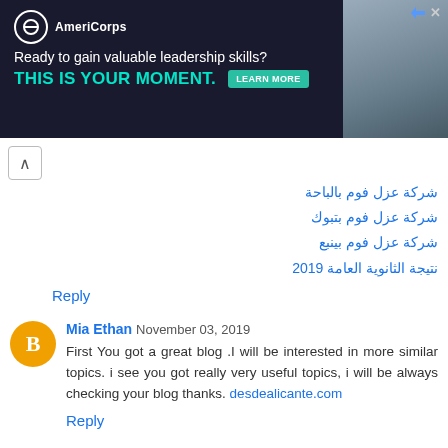[Figure (illustration): AmeriCorps advertisement banner with dark background, logo, tagline 'Ready to gain valuable leadership skills?', headline 'THIS IS YOUR MOMENT.' in teal, LEARN MORE button, and photo of people on right]
شركة عزل فوم بالباحة
شركة عزل فوم بتبوك
شركة عزل فوم بينبع
نتيجة الثانوية العامة 2019
Reply
Mia Ethan  November 03, 2019
First You got a great blog .I will be interested in more similar topics. i see you got really very useful topics, i will be always checking your blog thanks. desdealicante.com
Reply
عبده العمراوى  December 21, 2019